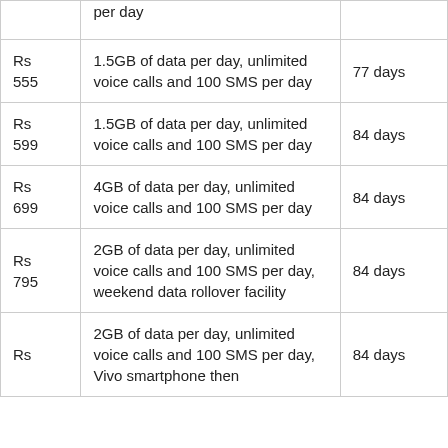| Price | Benefits | Validity |
| --- | --- | --- |
|  | per day |  |
| Rs 555 | 1.5GB of data per day, unlimited voice calls and 100 SMS per day | 77 days |
| Rs 599 | 1.5GB of data per day, unlimited voice calls and 100 SMS per day | 84 days |
| Rs 699 | 4GB of data per day, unlimited voice calls and 100 SMS per day | 84 days |
| Rs 795 | 2GB of data per day, unlimited voice calls and 100 SMS per day, weekend data rollover facility | 84 days |
| Rs ... | 2GB of data per day, unlimited voice calls and 100 SMS per day, Vivo smartphone then | 84 days |